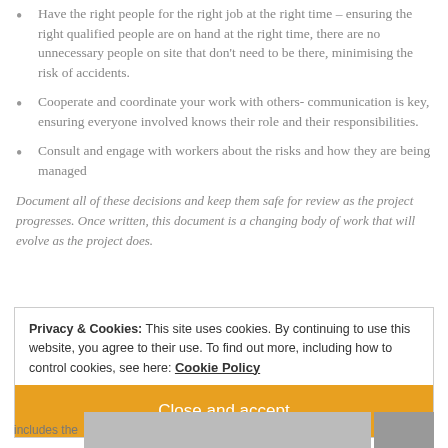Have the right people for the right job at the right time – ensuring the right qualified people are on hand at the right time, there are no unnecessary people on site that don't need to be there, minimising the risk of accidents.
Cooperate and coordinate your work with others- communication is key, ensuring everyone involved knows their role and their responsibilities.
Consult and engage with workers about the risks and how they are being managed
Document all of these decisions and keep them safe for review as the project progresses. Once written, this document is a changing body of work that will evolve as the project does.
Privacy & Cookies: This site uses cookies. By continuing to use this website, you agree to their use. To find out more, including how to control cookies, see here: Cookie Policy
Close and accept
includes the